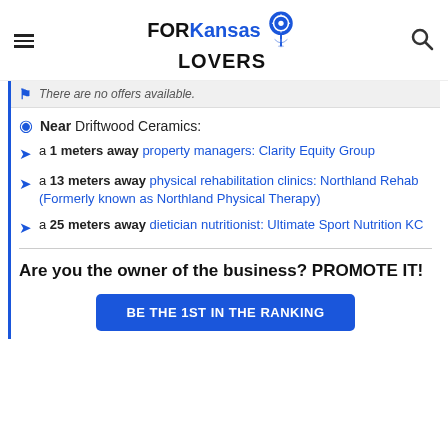FORKansas LOVERS
There are no offers available.
Near Driftwood Ceramics:
a 1 meters away property managers: Clarity Equity Group
a 13 meters away physical rehabilitation clinics: Northland Rehab (Formerly known as Northland Physical Therapy)
a 25 meters away dietician nutritionist: Ultimate Sport Nutrition KC
Are you the owner of the business? PROMOTE IT!
BE THE 1ST IN THE RANKING